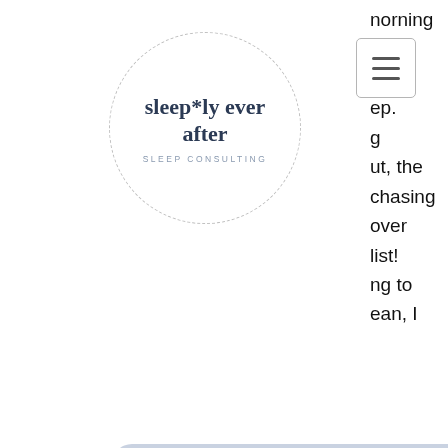[Figure (logo): Sleeply Ever After Sleep Consulting logo inside a dashed circle]
[Figure (other): Hamburger/menu icon button with three horizontal lines inside a rounded rectangle border]
norning s, ing ep. g ut, the chasing over list! ng to ean, I
[Figure (other): Button with rounded rectangle light blue-grey background labeled 'Book my free Evaluation Call']
was even watching a Ryan Reynolds movie before bed...groceries, really?? One of my friends in class asked "don't you have any tips for us?", well ask and you shall receive.